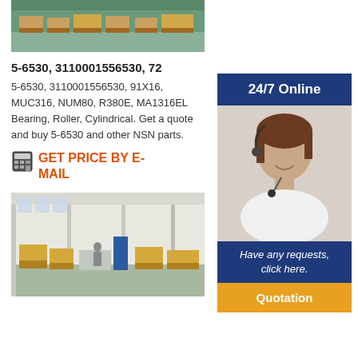[Figure (photo): Warehouse interior with pallets and boxes, partial top crop]
5-6530, 3110001556530, 72
5-6530, 3110001556530, 91X16, MUC316, NUM80, R380E, MA1316EL Bearing, Roller, Cylindrical. Get a quote and buy 5-6530 and other NSN parts.
GET PRICE BY E-MAIL
[Figure (photo): Warehouse interior with pallets, boxes, and large open floor space]
[Figure (infographic): 24/7 Online customer service banner with agent photo, Have any requests click here, and Quotation button]